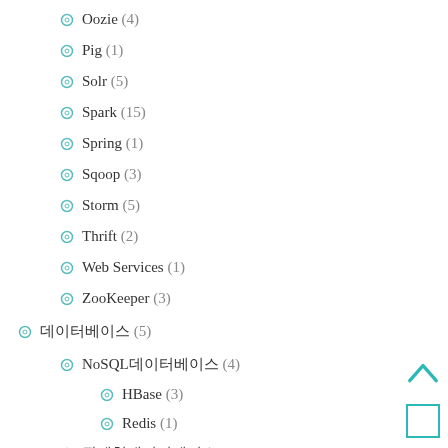Oozie (4)
Pig (1)
Solr (5)
Spark (15)
Spring (1)
Sqoop (3)
Storm (5)
Thrift (2)
Web Services (1)
ZooKeeper (3)
데이터베이스 (5)
NoSQL데이터베이스 (4)
HBase (3)
Redis (1)
관계형데이터베이스 (1)
MySQL (1)
모니터링 (4)
Ganglia (1)
HAProxy (1)
Memcached (1)